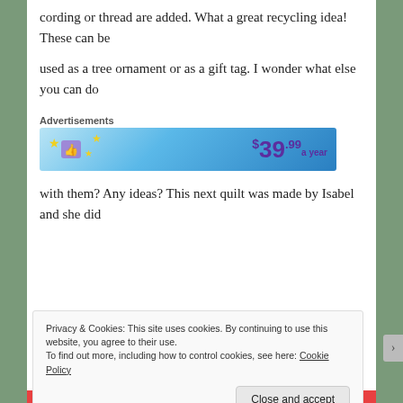cording or thread are added.  What a great recycling idea!  These can be
used as a tree ornament or as a gift tag.  I wonder what else you can do
[Figure (other): Advertisement banner showing '$39.99 a year' with blue gradient background and star icons]
with them? Any ideas?  This next quilt was made by Isabel and she did
Privacy & Cookies:  This site uses cookies.  By continuing to use this website, you agree to their use.
To find out more, including how to control cookies, see here: Cookie Policy
Close and accept